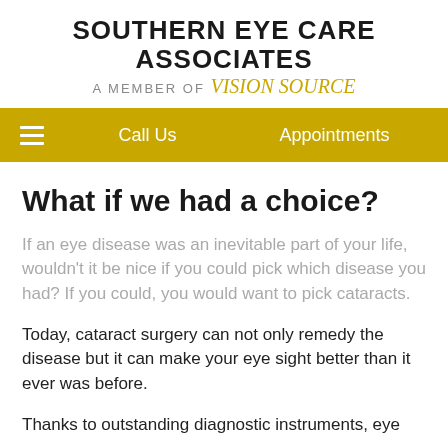SOUTHERN EYE CARE ASSOCIATES
A MEMBER OF Vision Source
Call Us   Appointments
What if we had a choice?
If an eye disease was an inevitable part of your life, wouldn’t it be nice if you could pick which disease you had? If you could, you would want to pick cataracts.
Today, cataract surgery can not only remedy the disease but it can make your eye sight better than it ever was before.
Thanks to outstanding diagnostic instruments, eye